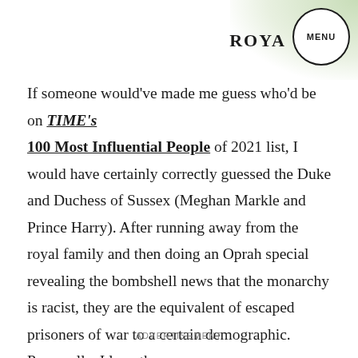ROYALS  MENU
If someone would've made me guess who'd be on TIME's 100 Most Influential People of 2021 list, I would have certainly correctly guessed the Duke and Duchess of Sussex (Meghan Markle and Prince Harry). After running away from the royal family and then doing an Oprah special revealing the bombshell news that the monarchy is racist, they are the equivalent of escaped prisoners of war to a certain demographic. Personally, I love them.
ADVERTISEMENT